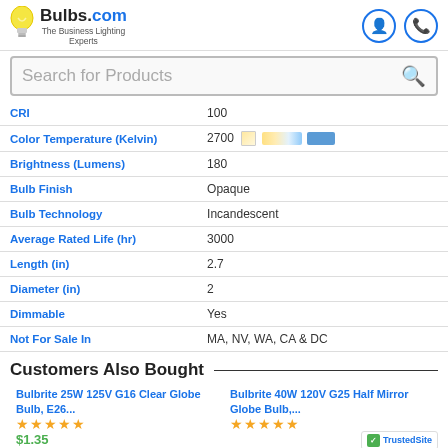Bulbs.com — The Business Lighting Experts
Search for Products
| Property | Value |
| --- | --- |
| CRI | 100 |
| Color Temperature (Kelvin) | 2700 |
| Brightness (Lumens) | 180 |
| Bulb Finish | Opaque |
| Bulb Technology | Incandescent |
| Average Rated Life (hr) | 3000 |
| Length (in) | 2.7 |
| Diameter (in) | 2 |
| Dimmable | Yes |
| Not For Sale In | MA, NV, WA, CA & DC |
Customers Also Bought
Bulbrite 25W 125V G16 Clear Globe Bulb, E26...
Bulbrite 40W 120V G25 Half Mirror Globe Bulb,...
$1.35